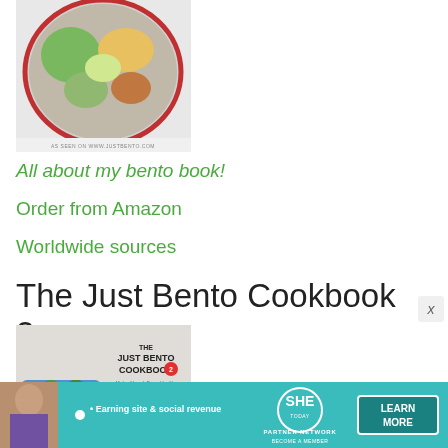[Figure (photo): Top portion of a bento box book cover showing a round bento container with vegetables and food items, with small text 'AS SEEN ON WWW.JUSTBENTO.COM' at the bottom]
All about my bento book!
Order from Amazon
Worldwide sources
The Just Bento Cookbook 2
[Figure (photo): Cover of The Just Bento Cookbook 2 by Makiko Itoh showing strawberries, rice bowl, and bento items with subtitle 'Make-Ahead, Easy, Healthy Lunches To Go']
[Figure (infographic): SHE Partner Network advertisement banner with woman photo, text 'Earning site & social revenue', SHE logo, LEARN MORE button, and BECOME A MEMBER tagline]